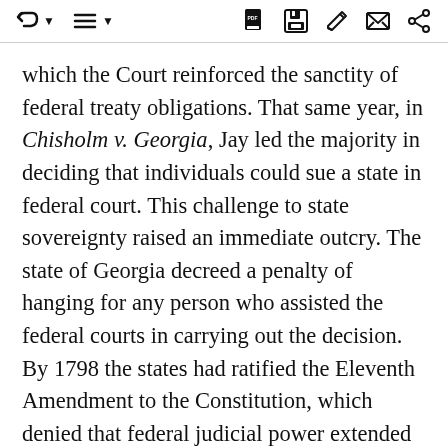which the Court reinforced the sanctity of federal treaty obligations. That same year, in Chisholm v. Georgia, Jay led the majority in deciding that individuals could sue a state in federal court. This challenge to state sovereignty raised an immediate outcry. The state of Georgia decreed a penalty of hanging for any person who assisted the federal courts in carrying out the decision. By 1798 the states had ratified the Eleventh Amendment to the Constitution, which denied that federal judicial power extended to suits against states by citizens of other states or subjects of foreign nations.
In 1792 Jay accepted the nomination for governor of New York. He won a narrow majority of the vote but was defeated due to a question about the legitimacy of certain votes.